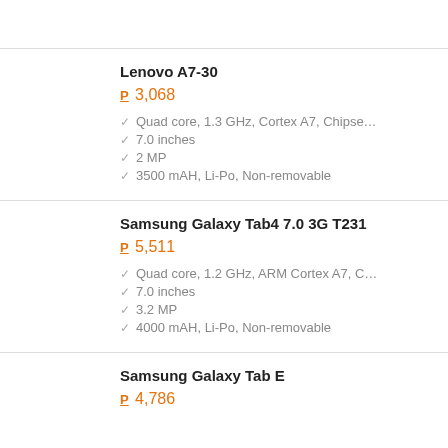Lenovo A7-30
P 3,068
Quad core, 1.3 GHz, Cortex A7, Chipse...
7.0 inches
2 MP
3500 mAH, Li-Po, Non-removable
Samsung Galaxy Tab4 7.0 3G T231
P 5,511
Quad core, 1.2 GHz, ARM Cortex A7, C...
7.0 inches
3.2 MP
4000 mAH, Li-Po, Non-removable
Samsung Galaxy Tab E
P 4,786